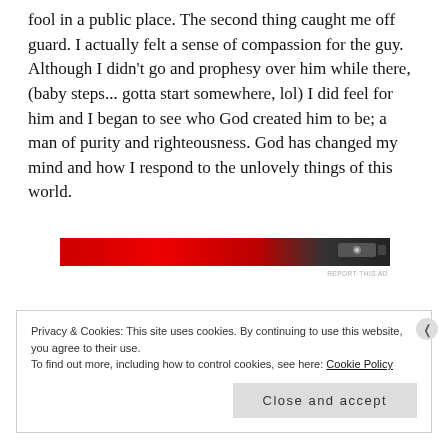fool in a public place. The second thing caught me off guard. I actually felt a sense of compassion for the guy. Although I didn't go and prophesy over him while there, (baby steps... gotta start somewhere, lol) I did feel for him and I began to see who God created him to be; a man of purity and righteousness. God has changed my mind and how I respond to the unlovely things of this world.
[Figure (other): Red and dark advertisement banner with an icon/logo visible on the right side]
REPORT THIS AD
Privacy & Cookies: This site uses cookies. By continuing to use this website, you agree to their use.
To find out more, including how to control cookies, see here: Cookie Policy
Close and accept